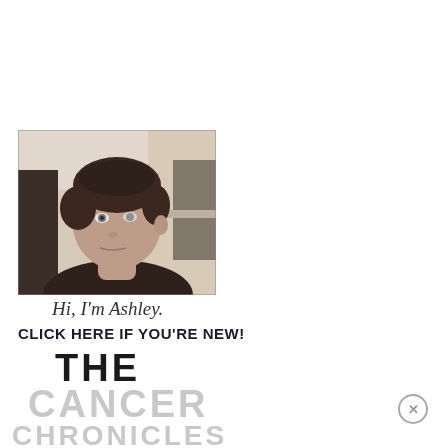[Figure (photo): A woman with short dark hair looking sideways, taken in a kitchen setting. Black and white / slightly sepia toned selfie-style photo.]
Hi, I'm Ashley.
CLICK HERE IF YOU'RE NEW!
THE
CANCER
CHRONICLES